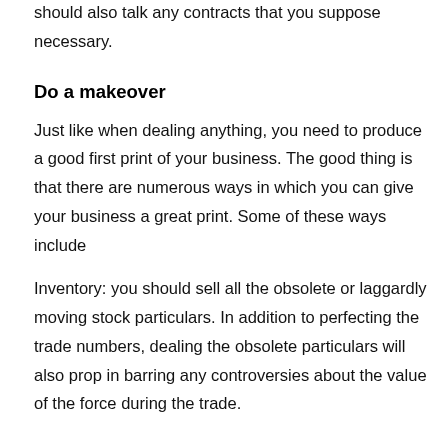should also talk any contracts that you suppose necessary.
Do a makeover
Just like when dealing anything, you need to produce a good first print of your business. The good thing is that there are numerous ways in which you can give your business a great print. Some of these ways include
Inventory: you should sell all the obsolete or laggardly moving stock particulars. In addition to perfecting the trade numbers, dealing the obsolete particulars will also prop in barring any controversies about the value of the force during the trade.